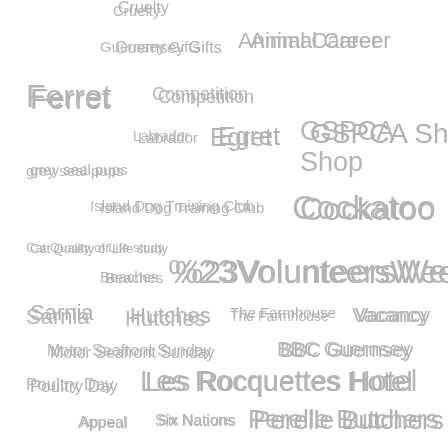[Figure (infographic): Tag cloud / word cloud showing various animal welfare and GSPCA-related tags in varying font sizes, all in grey color on white background. Tags include: Cruelty, Guernsey Gifts, Animal Career, Ferret, Competition, Labrador, Egret, GSPCA Shop, grey seal pups, Island Dog Training Club, Cockatoo, Cat Quality of Life study, Beaches, %23VolunteersWeek, Sarnia, Hutches, The Farmhouse, Vacancy, Motor Seafront Sunday, BBC Guernsey, Poultry Day, Les Rocquettes Hotel, Appeal, Six Nations, Perelle Butchers, Found Snake, Black Swan, Slug pellets, Random Act of Kindness, Animal Welfare Seafont Sunday, BBC, Birds of Prey, Ceva Awards for Animal Welfare 2015, Creature Comforts Pet Store]